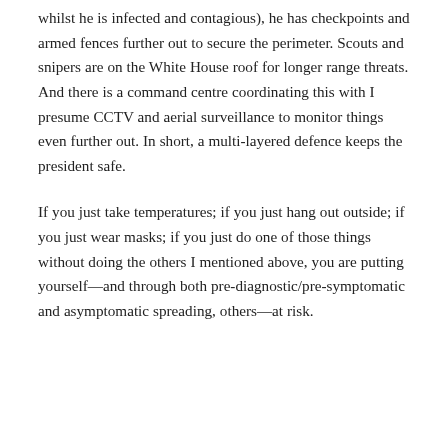whilst he is infected and contagious), he has checkpoints and armed fences further out to secure the perimeter. Scouts and snipers are on the White House roof for longer range threats. And there is a command centre coordinating this with I presume CCTV and aerial surveillance to monitor things even further out. In short, a multi-layered defence keeps the president safe.
If you just take temperatures; if you just hang out outside; if you just wear masks; if you just do one of those things without doing the others I mentioned above, you are putting yourself—and through both pre-diagnostic/pre-symptomatic and asymptomatic spreading, others—at risk.